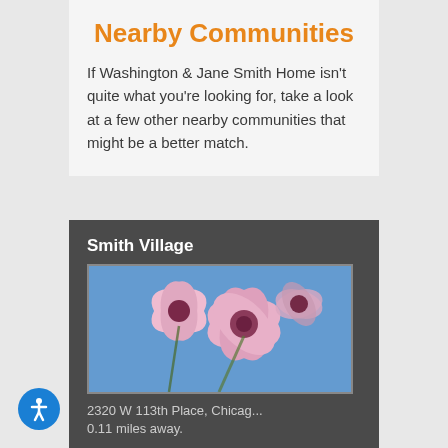Nearby Communities
If Washington & Jane Smith Home isn't quite what you're looking for, take a look at a few other nearby communities that might be a better match.
Smith Village
[Figure (photo): Pink cherry blossom flowers against a blue sky]
2320 W 113th Place, Chicag...
0.11 miles away.
Prairie Green at Fay's...
[Figure (photo): An elderly person's hands holding another hand, with a teal cup in background]